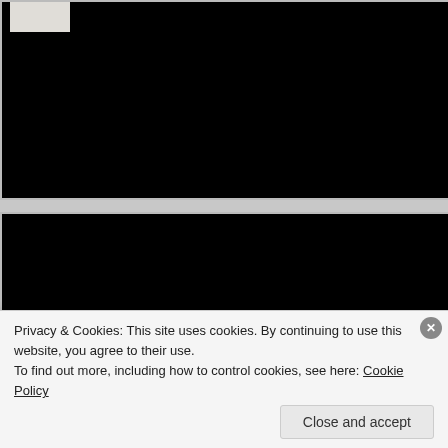[Figure (photo): Scanned book page top portion showing black background of scanner lid]
[Figure (photo): Scanned open book showing pages with text about pedophiles and children, with black scanner background above and book spine visible]
SOME MEANINGS OF CHILDREN FOR PEDOPHILES
sexual'' controls in terms of the first principal component. There are, however was no construct content.
1. Pedophiles are more likely to view both men and women in terms fenders submission. It is useful to ask here what kinds of social difficulty might the sex to view others in terms of dominance/submission, and to find others during. One such difficulty might be an inability to control
Privacy & Cookies: This site uses cookies. By continuing to use this website, you agree to their use.
To find out more, including how to control cookies, see here: Cookie Policy
Close and accept